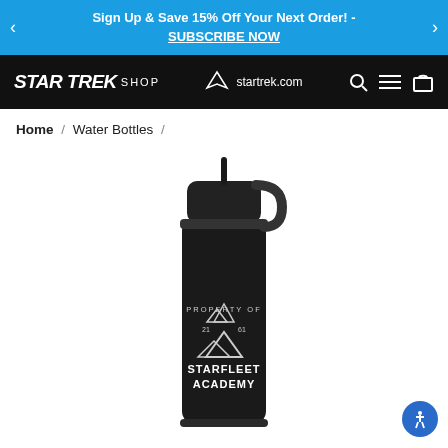Sign Up & Save 15% Off Your Next Order! - SUBSCRIBE NOW
[Figure (logo): Star Trek Shop logo and navigation bar with startrek.com link, search, menu, and cart icons]
Home / Water Bottles /
[Figure (photo): Black insulated water bottle with straw lid, labeled PROPERTY OF STARFLEET ACADEMY with mountain graphic and 21 61 text]